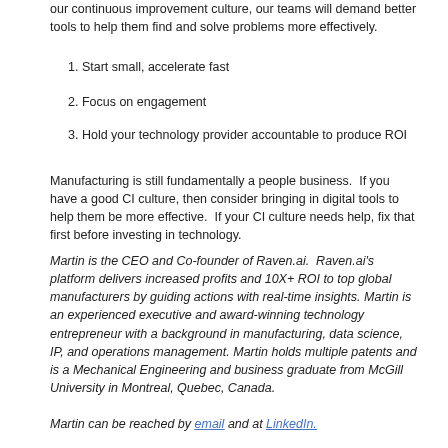our continuous improvement culture, our teams will demand better tools to help them find and solve problems more effectively.
1. Start small, accelerate fast
2. Focus on engagement
3. Hold your technology provider accountable to produce ROI
Manufacturing is still fundamentally a people business. If you have a good CI culture, then consider bringing in digital tools to help them be more effective. If your CI culture needs help, fix that first before investing in technology.
Martin is the CEO and Co-founder of Raven.ai. Raven.ai's platform delivers increased profits and 10X+ ROI to top global manufacturers by guiding actions with real-time insights. Martin is an experienced executive and award-winning technology entrepreneur with a background in manufacturing, data science, IP, and operations management. Martin holds multiple patents and is a Mechanical Engineering and business graduate from McGill University in Montreal, Quebec, Canada.
Martin can be reached by email and at LinkedIn.